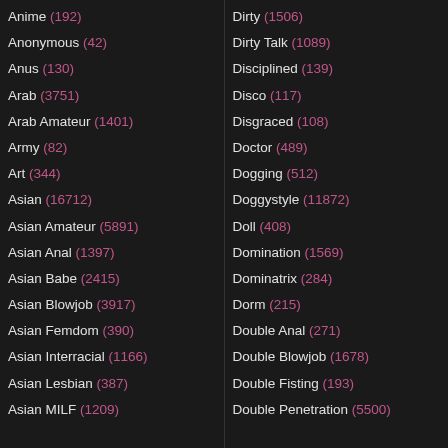Anime (192)
Anonymous (42)
Anus (130)
Arab (3751)
Arab Amateur (1401)
Army (82)
Art (344)
Asian (16712)
Asian Amateur (5891)
Asian Anal (1397)
Asian Babe (2415)
Asian Blowjob (3917)
Asian Femdom (390)
Asian Interracial (1166)
Asian Lesbian (387)
Asian MILF (1209)
Dirty (1506)
Dirty Talk (1089)
Disciplined (139)
Disco (117)
Disgraced (108)
Doctor (489)
Dogging (512)
Doggystyle (11872)
Doll (408)
Domination (1569)
Dominatrix (284)
Dorm (215)
Double Anal (271)
Double Blowjob (1678)
Double Fisting (193)
Double Penetration (5500)